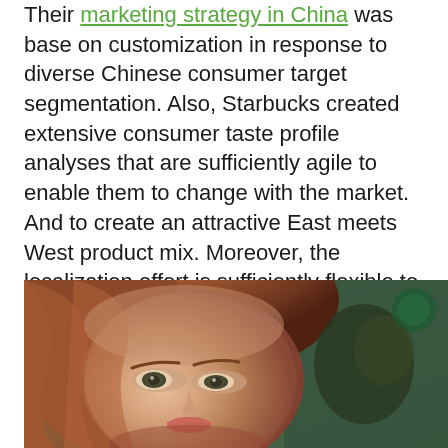Their marketing strategy in China was base on customization in response to diverse Chinese consumer target segmentation. Also, Starbucks created extensive consumer taste profile analyses that are sufficiently agile to enable them to change with the market. And to create an attractive East meets West product mix. Moreover, the localization effort is sufficiently flexible to permit each store, the flexibility to choose from a wide beverage portfolio.
[Figure (photo): Close-up photo of a woman with reddish-brown hair and visible eyes, with a blurred dark green background on the right side, likely near a Starbucks store.]